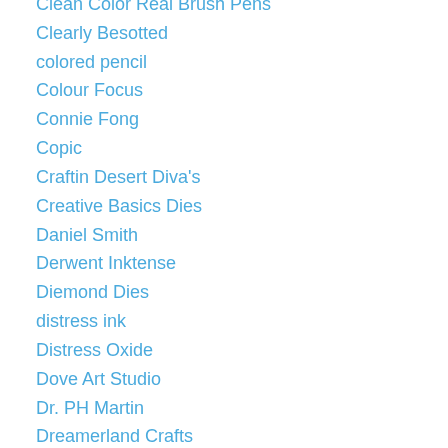Clean Color Real Brush Pens
Clearly Besotted
colored pencil
Colour Focus
Connie Fong
Copic
Craftin Desert Diva's
Creative Basics Dies
Daniel Smith
Derwent Inktense
Diemond Dies
distress ink
Distress Oxide
Dove Art Studio
Dr. PH Martin
Dreamerland Crafts
Easel card
Faber- Castell
Favorites
Favourites and Flops